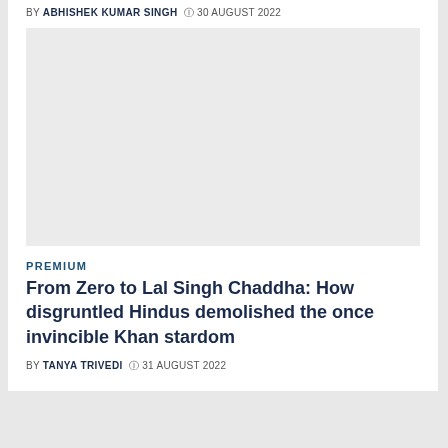BY ABHISHEK KUMAR SINGH  © 30 AUGUST 2022
[Figure (photo): Light grey placeholder image for article thumbnail]
PREMIUM
From Zero to Lal Singh Chaddha: How disgruntled Hindus demolished the once invincible Khan stardom
BY TANYA TRIVEDI  © 31 AUGUST 2022